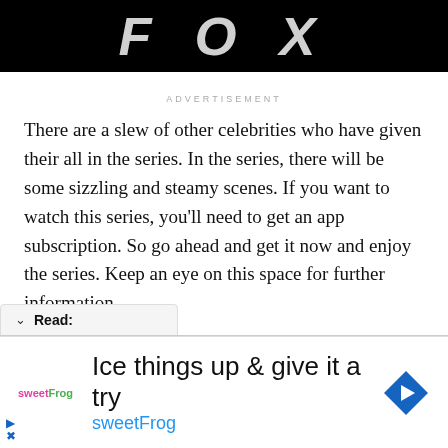FOX
ADVERTISEMENT
There are a slew of other celebrities who have given their all in the series. In the series, there will be some sizzling and steamy scenes. If you want to watch this series, you'll need to get an app subscription. So go ahead and get it now and enjoy the series. Keep an eye on this space for further information.
Read:
[Figure (screenshot): sweetFrog advertisement banner: Ice things up & give it a try, sweetFrog brand name in blue, with sweetFrog logo and blue diamond navigation icon]